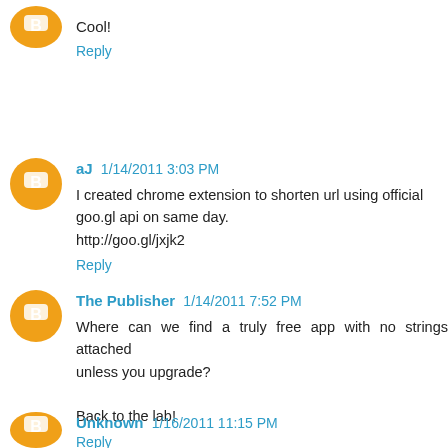Cool!
Reply
aJ 1/14/2011 3:03 PM
I created chrome extension to shorten url using official goo.gl api on same day.
http://goo.gl/jxjk2
Reply
The Publisher 1/14/2011 7:52 PM
Where can we find a truly free app with no strings attached unless you upgrade?

Back to the lab!
Reply
Unknown 1/16/2011 11:15 PM